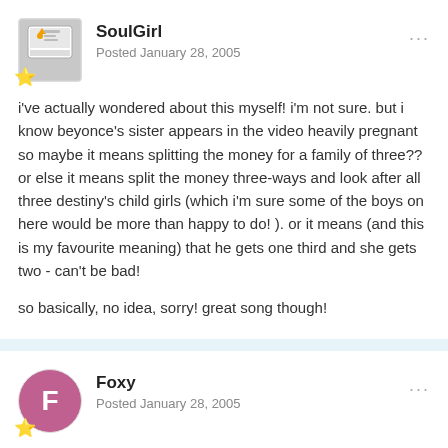SoulGirl
Posted January 28, 2005
i've actually wondered about this myself! i'm not sure. but i know beyonce's sister appears in the video heavily pregnant so maybe it means splitting the money for a family of three?? or else it means split the money three-ways and look after all three destiny's child girls (which i'm sure some of the boys on here would be more than happy to do! ). or it means (and this is my favourite meaning) that he gets one third and she gets two - can't be bad!
so basically, no idea, sorry! great song though!
Foxy
Posted January 28, 2005
[T.I.]
Hey (I need a soldier)